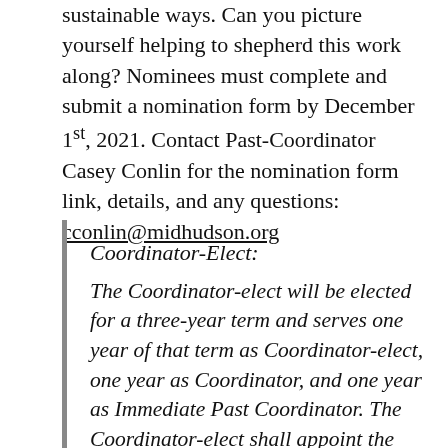sustainable ways. Can you picture yourself helping to shepherd this work along? Nominees must complete and submit a nomination form by December 1st, 2021. Contact Past-Coordinator Casey Conlin for the nomination form link, details, and any questions: cconlin@midhudson.org
Coordinator-Elect: The Coordinator-elect will be elected for a three-year term and serves one year of that term as Coordinator-elect, one year as Coordinator, and one year as Immediate Past Coordinator. The Coordinator-elect shall appoint the chair of each standing committee and members to fill vacancies in such committees for terms beginning their